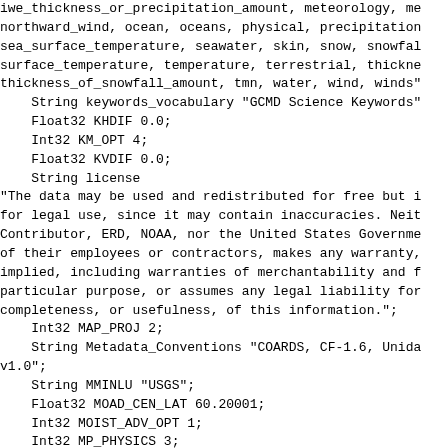iwe_thickness_or_precipitation_amount, meteorology, me northward_wind, ocean, oceans, physical, precipitation sea_surface_temperature, seawater, skin, snow, snowfal surface_temperature, temperature, terrestrial, thickne thickness_of_snowfall_amount, tmn, water, wind, winds"     String keywords_vocabulary "GCMD Science Keywords"     Float32 KHDIF 0.0;     Int32 KM_OPT 4;     Float32 KVDIF 0.0;     String license "The data may be used and redistributed for free but i for legal use, since it may contain inaccuracies. Neit Contributor, ERD, NOAA, nor the United States Governme of their employees or contractors, makes any warranty, implied, including warranties of merchantability and f particular purpose, or assumes any legal liability for completeness, or usefulness, of this information.";     Int32 MAP_PROJ 2;     String Metadata_Conventions "COARDS, CF-1.6, Unida v1.0";     String MMINLU "USGS";     Float32 MOAD_CEN_LAT 60.20001;     Int32 MOIST_ADV_OPT 1;     Int32 MP_PHYSICS 3;     Int32 NUM_LAND_CAT 24;     Int32 OBS_NUDGE_OPT 0;